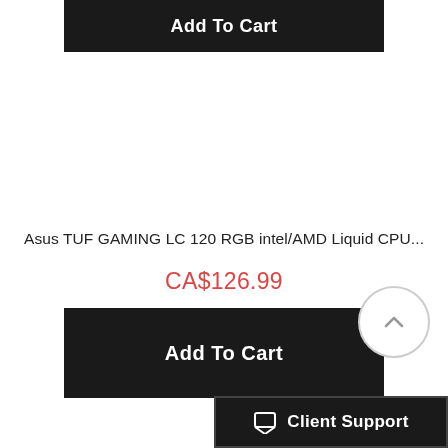Add To Cart
Asus TUF GAMING LC 120 RGB intel/AMD Liquid CPU...
CA$126.99
Add To Cart
[Figure (other): Scroll to top circular button with chevron/arrow icon]
Client Support